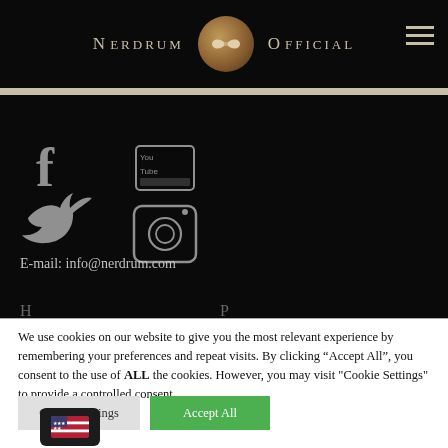Nerdrum Official
[Figure (logo): Nerdrum Official website header with logo circle containing butterfly icon and hamburger menu]
[Figure (illustration): Social media icons: Facebook, Twitter (left column), YouTube, Instagram (right column) on dark background]
E-mail: info@nerdrum.com
We use cookies on our website to give you the most relevant experience by remembering your preferences and repeat visits. By clicking “Accept All”, you consent to the use of ALL the cookies. However, you may visit "Cookie Settings" to provide a controlled consent.
Cookie Settings
Accept All